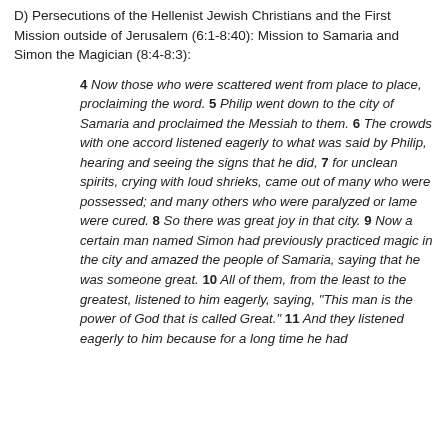D) Persecutions of the Hellenist Jewish Christians and the First Mission outside of Jerusalem (6:1-8:40): Mission to Samaria and Simon the Magician (8:4-8:3):
4 Now those who were scattered went from place to place, proclaiming the word. 5 Philip went down to the city of Samaria and proclaimed the Messiah to them. 6 The crowds with one accord listened eagerly to what was said by Philip, hearing and seeing the signs that he did, 7 for unclean spirits, crying with loud shrieks, came out of many who were possessed; and many others who were paralyzed or lame were cured. 8 So there was great joy in that city. 9 Now a certain man named Simon had previously practiced magic in the city and amazed the people of Samaria, saying that he was someone great. 10 All of them, from the least to the greatest, listened to him eagerly, saying, "This man is the power of God that is called Great." 11 And they listened eagerly to him because for a long time he had